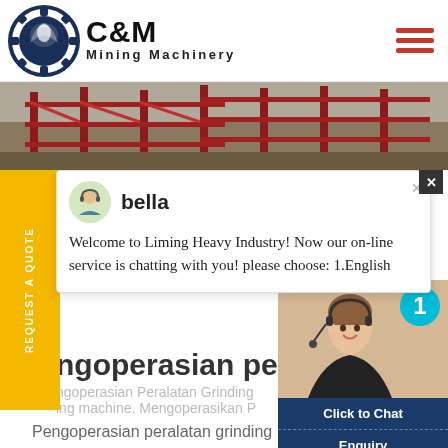C&M Mining Machinery
[Figure (screenshot): Hero image showing industrial mining equipment structure with red metal scaffolding]
[Figure (screenshot): Live chat popup with agent bella: 'Welcome to Liming Heavy Industry! Now our on-line service is chatting with you! please choose: 1.English']
ngoperasian peralata
ngoperasian Peralatan Grinding
ing machine. Mengoperasikan P
Pengoperasian peralatan grinding indonesia ini adalah daftar solusi te pengoperasian peralatan grinding
[Figure (photo): Customer service representative wearing headset, smiling, with teal notification badge showing '1', 'Click to Chat' and 'Enquiry' buttons]